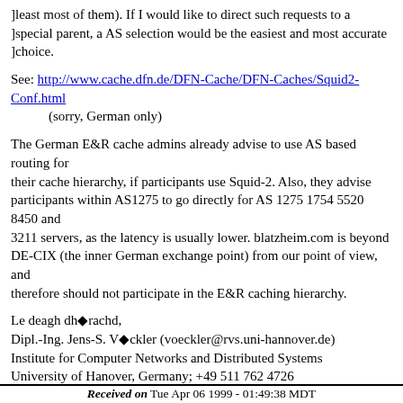]least most of them). If I would like to direct such requests to a ]special parent, a AS selection would be the easiest and most accurate ]choice.
See: http://www.cache.dfn.de/DFN-Cache/DFN-Caches/Squid2-Conf.html
    (sorry, German only)
The German E&R cache admins already advise to use AS based routing for their cache hierarchy, if participants use Squid-2. Also, they advise participants within AS1275 to go directly for AS 1275 1754 5520 8450 and 3211 servers, as the latency is usually lower. blatzheim.com is beyond DE-CIX (the inner German exchange point) from our point of view, and therefore should not participate in the E&R caching hierarchy.
Le deagh dh◆rachd,
Dipl.-Ing. Jens-S. V◆ckler (voeckler@rvs.uni-hannover.de)
Institute for Computer Networks and Distributed Systems
University of Hanover, Germany; +49 511 762 4726
Received on Tue Apr 06 1999 - 01:49:38 MDT